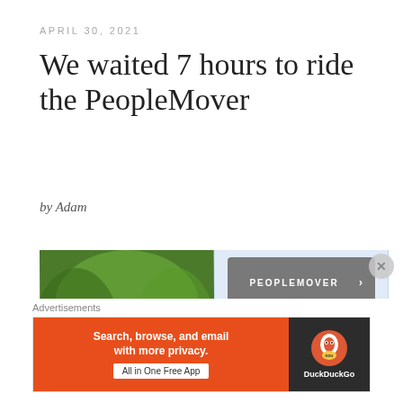APRIL 30, 2021
We waited 7 hours to ride the PeopleMover
by Adam
[Figure (photo): Left: Jungle/tiki themed attraction sign surrounded by lush greenery. Right: Two men wearing face masks standing in front of a PeopleMover sign at a theme park.]
Advertisements
[Figure (screenshot): DuckDuckGo advertisement banner: 'Search, browse, and email with more privacy. All in One Free App' on orange background with DuckDuckGo duck logo on dark background.]